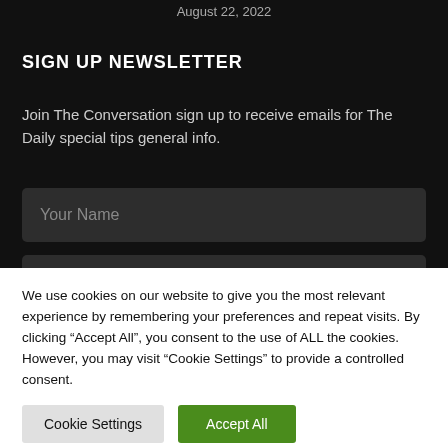August 22, 2022
SIGN UP NEWSLETTER
Join The Conversation sign up to receive emails for The Daily special tips general info.
Your Name
We use cookies on our website to give you the most relevant experience by remembering your preferences and repeat visits. By clicking “Accept All”, you consent to the use of ALL the cookies. However, you may visit “Cookie Settings” to provide a controlled consent.
Cookie Settings
Accept All